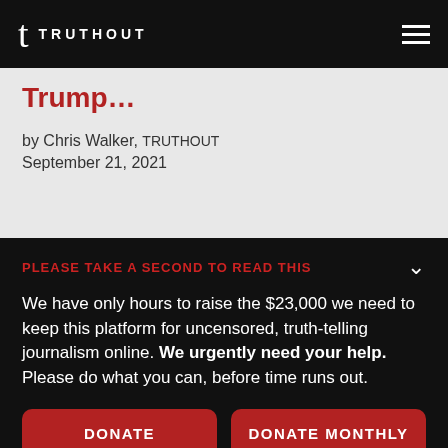t TRUTHOUT
Trump...
by Chris Walker, TRUTHOUT
September 21, 2021
PLEASE TAKE A SECOND TO READ THIS
We have only hours to raise the $23,000 we need to keep this platform for uncensored, truth-telling journalism online. We urgently need your help. Please do what you can, before time runs out.
DONATE
DONATE MONTHLY